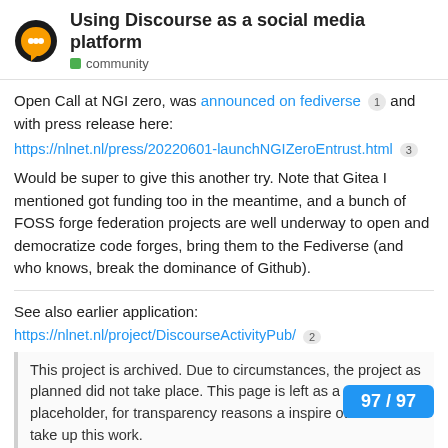Using Discourse as a social media platform — community
Open Call at NGI zero, was announced on fediverse 1 and with press release here:
https://nlnet.nl/press/20220601-launchNGIZeroEntrust.html 3
Would be super to give this another try. Note that Gitea I mentioned got funding too in the meantime, and a bunch of FOSS forge federation projects are well underway to open and democratize code forges, bring them to the Fediverse (and who knows, break the dominance of Github).
See also earlier application:
https://nlnet.nl/project/DiscourseActivityPub/ 2
This project is archived. Due to circumstances, the project as planned did not take place. This page is left as a placeholder, for transparency reasons a inspire others to take up this work.
97 / 97